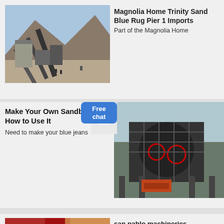[Figure (photo): Mining or quarry plant with conveyors and machinery on a hillside]
Magnolia Home Trinity Sand Blue Rug Pier 1 Imports
Part of the Magnolia Home
Make Your Own Sandblaster and How to Use It
Need to make your blue jeans
[Figure (photo): Large industrial crusher or grinding machine on a platform]
[Figure (photo): Red industrial machinery or equipment close-up]
san pablo machineries
Used normal wear For any kind of project they re beautiful bords